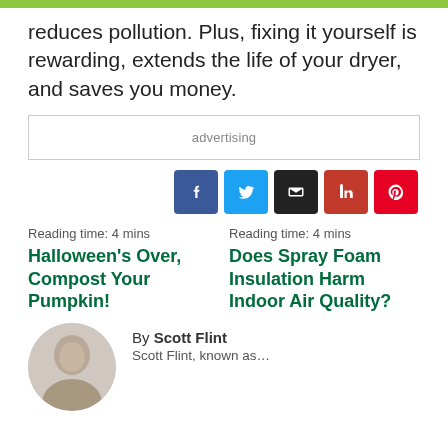reduces pollution. Plus, fixing it yourself is rewarding, extends the life of your dryer, and saves you money.
advertising
[Figure (infographic): Social share buttons: Facebook (blue), Twitter (light blue), Email (black), LinkedIn (dark red), Pinterest (red)]
Reading time: 4 mins
Reading time: 4 mins
Halloween's Over, Compost Your Pumpkin!
Does Spray Foam Insulation Harm Indoor Air Quality?
By Scott Flint
Scott Flint, known as…